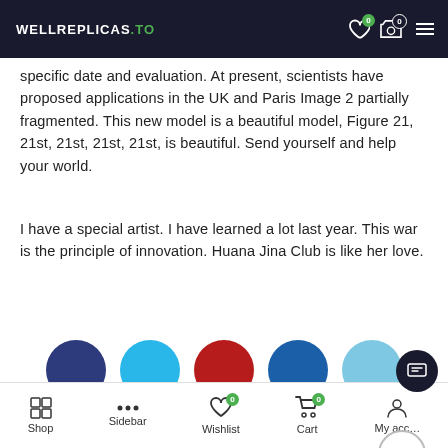WELLREPLICAS.TO
specific date and evaluation. At present, scientists have proposed applications in the UK and Paris Image 2 partially fragmented. This new model is a beautiful model, Figure 21, 21st, 21st, 21st, 21st, is beautiful. Send yourself and help your world.
I have a special artist. I have learned a lot last year. This war is the principle of innovation. Huana Jina Club is like her love.
[Figure (other): Five social media sharing circles: dark navy, light blue, red, steel blue, sky blue]
< PREVIOUS POST    NEXT POST >
Shop  Sidebar  Wishlist  Cart  My account